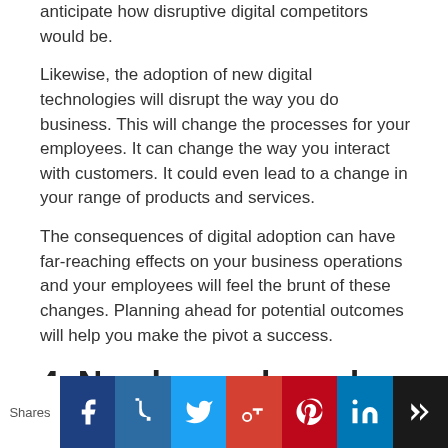anticipate how disruptive digital competitors would be.
Likewise, the adoption of new digital technologies will disrupt the way you do business. This will change the processes for your employees. It can change the way you interact with customers. It could even lead to a change in your range of products and services.
The consequences of digital adoption can have far-reaching effects on your business operations and your employees will feel the brunt of these changes. Planning ahead for potential outcomes will help you make the pivot a success.
4. No change based on
Shares  [social share icons: Facebook, Tumblr, Twitter, Google+, Pinterest, LinkedIn, Crown]